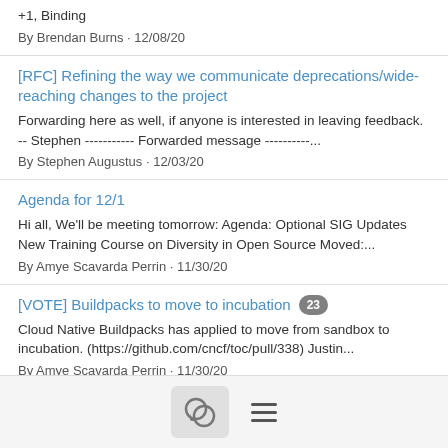+1, Binding
By Brendan Burns · 12/08/20
[RFC] Refining the way we communicate deprecations/wide-reaching changes to the project
Forwarding here as well, if anyone is interested in leaving feedback. -- Stephen ----------- Forwarded message ----------...
By Stephen Augustus · 12/03/20
Agenda for 12/1
Hi all, We'll be meeting tomorrow: Agenda: Optional SIG Updates New Training Course on Diversity in Open Source Moved:...
By Amye Scavarda Perrin · 11/30/20
[VOTE] Buildpacks to move to incubation 23
Cloud Native Buildpacks has applied to move from sandbox to incubation. (https://github.com/cncf/toc/pull/338) Justin...
By Amye Scavarda Perrin · 11/30/20
chat and menu icons